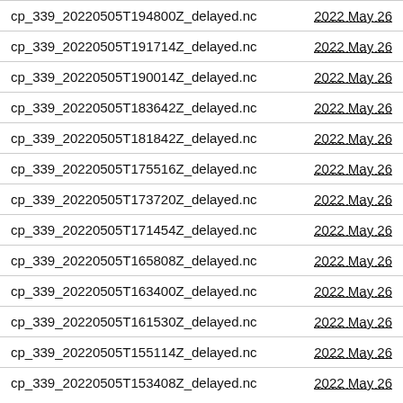| Filename | Date |
| --- | --- |
| cp_339_20220505T194800Z_delayed.nc | 2022 May 26 |
| cp_339_20220505T191714Z_delayed.nc | 2022 May 26 |
| cp_339_20220505T190014Z_delayed.nc | 2022 May 26 |
| cp_339_20220505T183642Z_delayed.nc | 2022 May 26 |
| cp_339_20220505T181842Z_delayed.nc | 2022 May 26 |
| cp_339_20220505T175516Z_delayed.nc | 2022 May 26 |
| cp_339_20220505T173720Z_delayed.nc | 2022 May 26 |
| cp_339_20220505T171454Z_delayed.nc | 2022 May 26 |
| cp_339_20220505T165808Z_delayed.nc | 2022 May 26 |
| cp_339_20220505T163400Z_delayed.nc | 2022 May 26 |
| cp_339_20220505T161530Z_delayed.nc | 2022 May 26 |
| cp_339_20220505T155114Z_delayed.nc | 2022 May 26 |
| cp_339_20220505T153408Z_delayed.nc | 2022 May 26 |